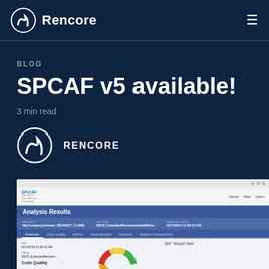Rencore
BLOG
SPCAF v5 available!
3 min read
[Figure (logo): Rencore company logo circular icon with RENCORE text]
[Figure (screenshot): Screenshot of SPCAF v5 Analysis Results window showing project MyCompany.Intranet_20140917_111909, setting RS70_ExtendedRecommendedRules, analysis date 9/17/2014 11:26:15 AM, with tabs: Summary, Code Quality, Metrics, Dependencies, Inventory, Migration Assessment. Content area shows 360 Result View donut chart and Code Quality section.]